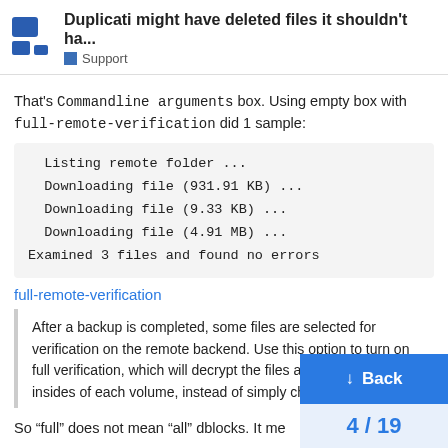Duplicati might have deleted files it shouldn't ha... | Support
That's Commandline arguments box. Using empty box with full-remote-verification did 1 sample:
Listing remote folder ...
Downloading file (931.91 KB) ...
Downloading file (9.33 KB) ...
Downloading file (4.91 MB) ...
Examined 3 files and found no errors
full-remote-verification
After a backup is completed, some files are selected for verification on the remote backend. Use this option to turn on full verification, which will decrypt the files and examine the insides of each volume, instead of simply checking the external hash
So “full” does not mean “all” dblocks. It me